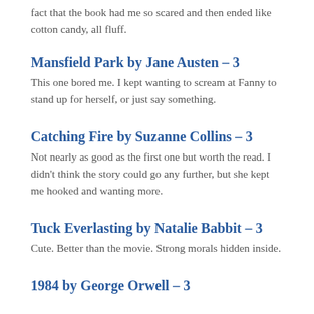fact that the book had me so scared and then ended like cotton candy, all fluff.
Mansfield Park by Jane Austen – 3
This one bored me. I kept wanting to scream at Fanny to stand up for herself, or just say something.
Catching Fire by Suzanne Collins – 3
Not nearly as good as the first one but worth the read. I didn't think the story could go any further, but she kept me hooked and wanting more.
Tuck Everlasting by Natalie Babbit – 3
Cute. Better than the movie. Strong morals hidden inside.
1984 by George Orwell – 3